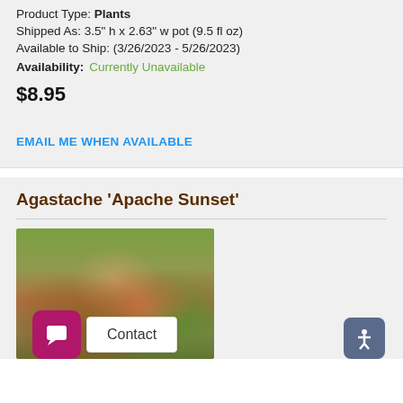Product Type: Plants
Shipped As: 3.5" h x 2.63" w pot (9.5 fl oz)
Available to Ship: (3/26/2023 - 5/26/2023)
Availability: Currently Unavailable
$8.95
EMAIL ME WHEN AVAILABLE
Agastache 'Apache Sunset'
[Figure (photo): Photo of Agastache 'Apache Sunset' plant with orange-red flower spikes against green foliage background]
Contact